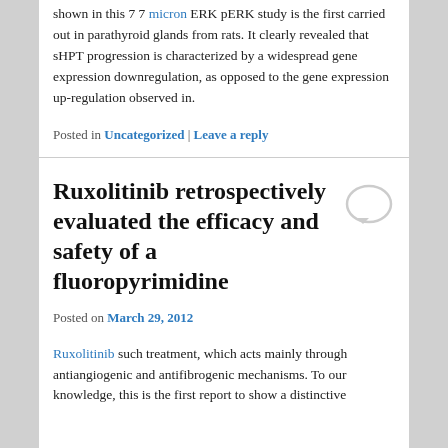shown in this 7 7 micron ERK pERK study is the first carried out in parathyroid glands from rats. It clearly revealed that sHPT progression is characterized by a widespread gene expression downregulation, as opposed to the gene expression up-regulation observed in.
Posted in Uncategorized | Leave a reply
Ruxolitinib retrospectively evaluated the efficacy and safety of a fluoropyrimidine
Posted on March 29, 2012
Ruxolitinib such treatment, which acts mainly through antiangiogenic and antifibrogenic mechanisms. To our knowledge, this is the first report to show a distinctive